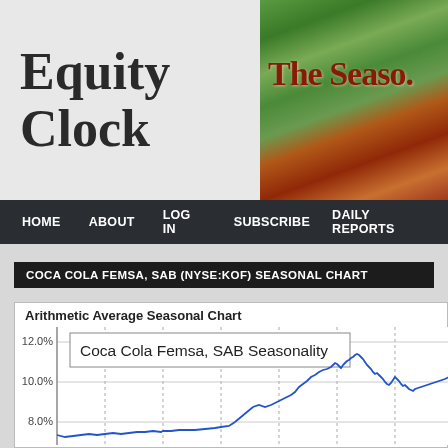Equity Clock
[Figure (photo): The Seasons header image with autumn/nature photography and dark red serif text 'The Seaso...']
HOME   ABOUT   LOG IN   SUBSCRIBE   DAILY REPORTS
COCA COLA FEMSA, SAB (NYSE:KOF) SEASONAL CHART
Arithmetic Average Seasonal Chart
[Figure (line-chart): Line chart showing Coca Cola Femsa SAB seasonality. Y-axis shows 12.0%, 10.0%, 8.0% visible. Line starts low around 6-7% in first half of year, rises sharply around two-thirds through to peaks near 9-10%, then partially declines toward end. Blue line on white background with dashed vertical gridlines.]